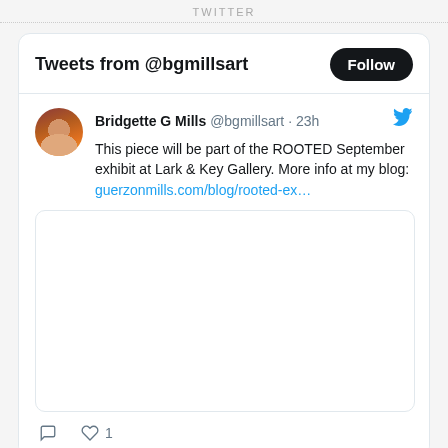TWITTER
Tweets from @bgmillsart
Bridgette G Mills @bgmillsart · 23h
This piece will be part of the ROOTED September exhibit at Lark & Key Gallery. More info at my blog: guerzonmills.com/blog/rooted-ex…
[Figure (photo): Embedded tweet image placeholder (white rounded rectangle)]
♡ 1